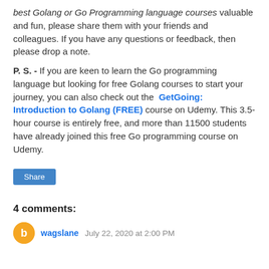best Golang or Go Programming language courses valuable and fun, please share them with your friends and colleagues. If you have any questions or feedback, then please drop a note.
P. S. - If you are keen to learn the Go programming language but looking for free Golang courses to start your journey, you can also check out the  GetGoing: Introduction to Golang (FREE) course on Udemy. This 3.5-hour course is entirely free, and more than 11500 students have already joined this free Go programming course on Udemy.
Share
4 comments:
wagslane  July 22, 2020 at 2:00 PM